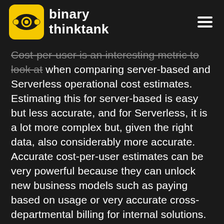binary thinktank
Cost-per-user is an interesting metric to look at when comparing server-based and Serverless operational cost estimates. Estimating this for server-based is easy but less accurate, and for Serverless, it is a lot more complex but, given the right data, also considerably more accurate. Accurate cost-per-user estimates can be very powerful because they can unlock new business models such as paying based on usage or very accurate cross-departmental billing for internal solutions.
The cost-per-user over time is also an interesting